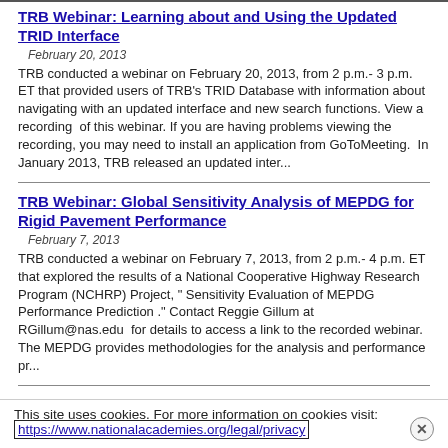TRB Webinar: Learning about and Using the Updated TRID Interface
February 20, 2013
TRB conducted a webinar on February 20, 2013, from 2 p.m.- 3 p.m. ET that provided users of TRB’s TRID Database with information about navigating with an updated interface and new search functions. View a recording  of this webinar. If you are having problems viewing the recording, you may need to install an application from GoToMeeting.  In January 2013, TRB released an updated inter...
TRB Webinar: Global Sensitivity Analysis of MEPDG for Rigid Pavement Performance
February 7, 2013
TRB conducted a webinar on February 7, 2013, from 2 p.m.- 4 p.m. ET that explored the results of a National Cooperative Highway Research Program (NCHRP) Project, “ Sensitivity Evaluation of MEPDG Performance Prediction .” Contact Reggie Gillum at  RGillum@nas.edu  for details to access a link to the recorded webinar. The MEPDG provides methodologies for the analysis and performance pr...
TRB Webinar: Geotech Tools: Engineering Tools and Technology Selection Guidance for Geotechnical
This site uses cookies. For more information on cookies visit: https://www.nationalacademies.org/legal/privacy